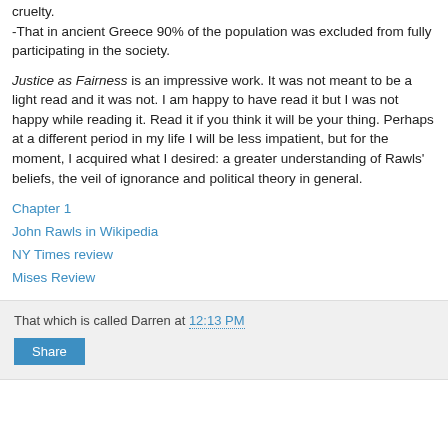-That in ancient Greece 90% of the population was excluded from fully participating in the society.
Justice as Fairness is an impressive work. It was not meant to be a light read and it was not. I am happy to have read it but I was not happy while reading it. Read it if you think it will be your thing. Perhaps at a different period in my life I will be less impatient, but for the moment, I acquired what I desired: a greater understanding of Rawls' beliefs, the veil of ignorance and political theory in general.
Chapter 1
John Rawls in Wikipedia
NY Times review
Mises Review
That which is called Darren at 12:13 PM
Share